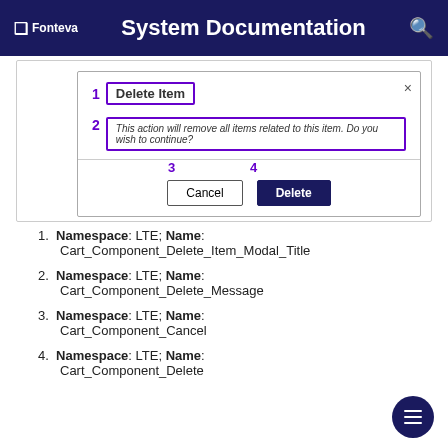Fonteva System Documentation
[Figure (screenshot): A modal dialog titled 'Delete Item' with numbered callouts: 1 points to the modal title 'Delete Item', 2 points to the message 'This action will remove all items related to this item. Do you wish to continue?', 3 points to the Cancel button, 4 points to the Delete button.]
Namespace: LTE; Name: Cart_Component_Delete_Item_Modal_Title
Namespace: LTE; Name: Cart_Component_Delete_Message
Namespace: LTE; Name: Cart_Component_Cancel
Namespace: LTE; Name: Cart_Component_Delete